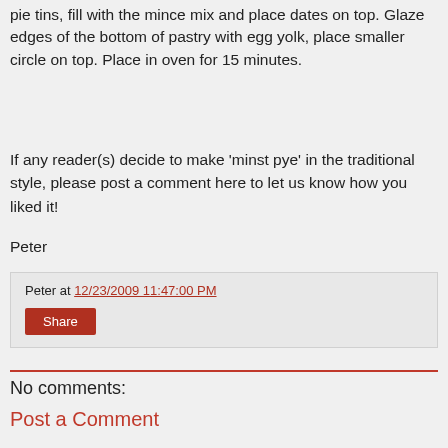pie tins, fill with the mince mix and place dates on top. Glaze edges of the bottom of pastry with egg yolk, place smaller circle on top. Place in oven for 15 minutes.
If any reader(s) decide to make 'minst pye' in the traditional style, please post a comment here to let us know how you liked it!
Peter
Peter at 12/23/2009 11:47:00 PM
Share
No comments:
Post a Comment